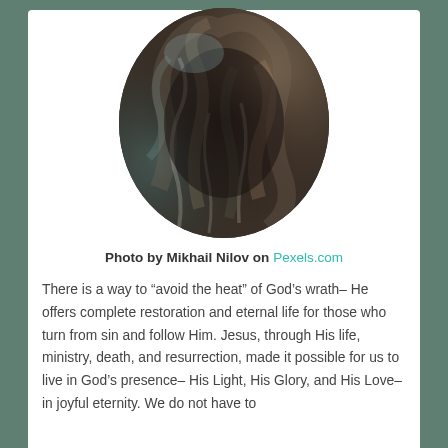[Figure (photo): Oval-cropped photo showing dark swirling smoke patterns with teal and brown tones, by Mikhail Nilov]
Photo by Mikhail Nilov on Pexels.com
There is a way to “avoid the heat” of God’s wrath– He offers complete restoration and eternal life for those who turn from sin and follow Him. Jesus, through His life, ministry, death, and resurrection, made it possible for us to live in God’s presence– His Light, His Glory, and His Love– in joyful eternity. We do not have to